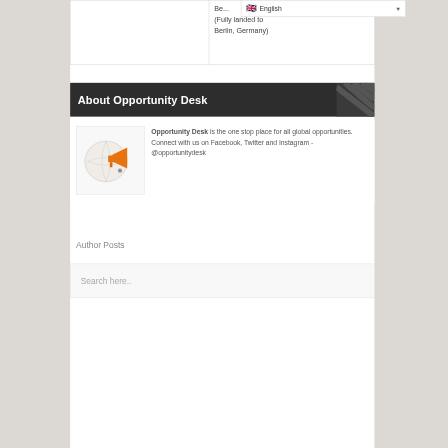|  | Be...
(Fully landed to
Berlin, Germany) |
[Figure (screenshot): English language selector dropdown with UK flag]
About Opportunity Desk
[Figure (logo): Opportunity Desk logo - globe with orange megaphone]
Opportunity Desk is the one stop place for all global opportunities. Connect with us on Facebook, Twitter and Instagram - @opportunitydesk
Author Posts
Search here..